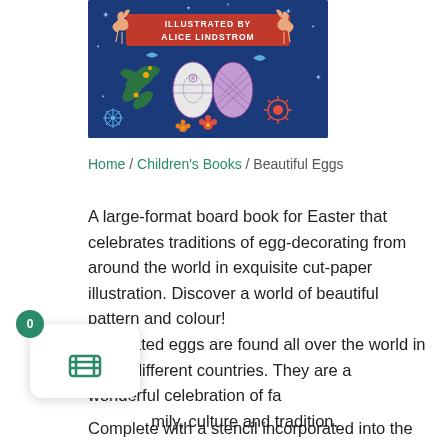[Figure (illustration): Book cover for 'Beautiful Eggs' illustrated by Alice Lindstrom. Dark blue background with folk-art style decorations including deer, snowflakes, flowers, and three decorated eggs in the center. Text reads 'ILLUSTRATED BY ALICE LINDSTROM' in red banner.]
Home / Children's Books / Beautiful Eggs
A large-format board book for Easter that celebrates traditions of egg-decorating from around the world in exquisite cut-paper illustration. Discover a world of beautiful pattern and colour!
Decorated eggs are found all over the world in many different countries. They are a wonderful celebration of family, culture and tradition.
Complete with a stencil incorporated into the design,